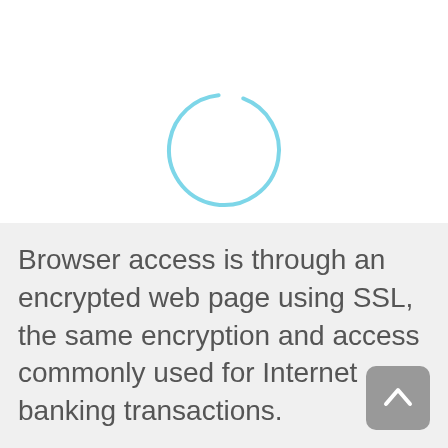[Figure (other): A light blue loading spinner circle, mostly complete with a small gap at the top-right, centered in the upper portion of the page.]
Browser access is through an encrypted web page using SSL, the same encryption and access commonly used for Internet banking transactions.